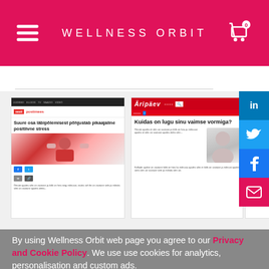WELLNESS ORBIT
[Figure (screenshot): Three article screenshots showing Estonian news website articles about stress, mental health, and wellness]
By using Wellness Orbit web page you agree to our Privacy and Cookie Policy. We use use cookies for analytics, personalisation and custom ads.
I AGREE